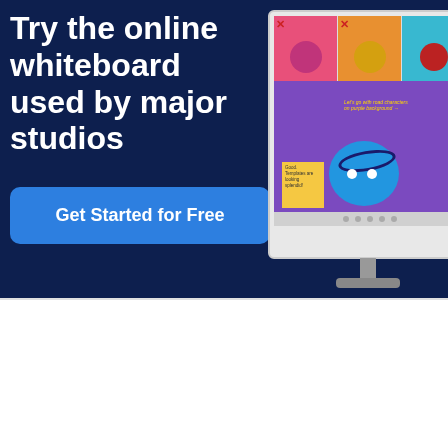Try the online whiteboard used by major studios
Get Started for Free
[Figure (screenshot): Screenshot of an online whiteboard application displayed on a monitor. The screen shows a top row of three image thumbnails with colorful blob characters on pink, yellow, and teal backgrounds (with X close buttons). Below is a large purple whiteboard canvas featuring a blue fluffy ball character with eyes and a halo, a yellow sticky note with small text, a handwritten-style annotation with an arrow, and a yellow accent rectangle on the right.]